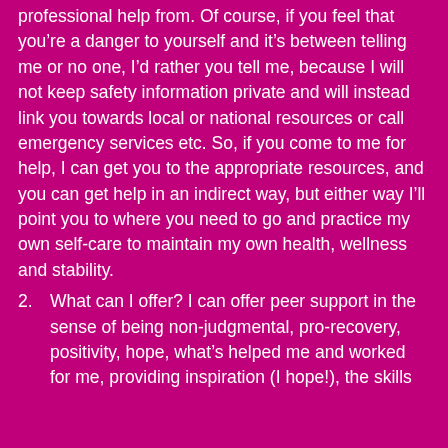professional help from. Of course, if you feel that you're a danger to yourself and it's between telling me or no one, I'd rather you tell me, because I will not keep safety information private and will instead link you towards local or national resources or call emergency services etc. So, if you come to me for help, I can get you to the appropriate resources, and you can get help in an indirect way, but either way I'll point you to where you need to go and practice my own self-care to maintain my own health, wellness and stability.
2. What can I offer? I can offer peer support in the sense of being non-judgmental, pro-recovery, positivity, hope, what's helped me and worked for me, providing inspiration (I hope!), the skills